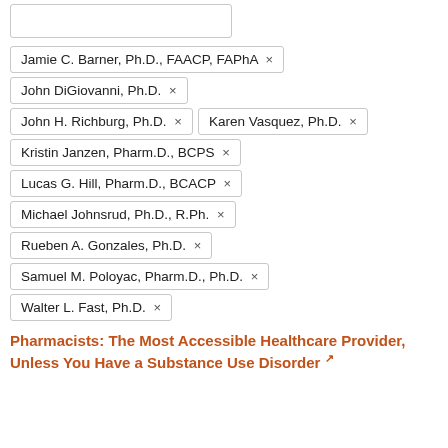Jamie C. Barner, Ph.D., FAACP, FAPhA ×
John DiGiovanni, Ph.D. ×
John H. Richburg, Ph.D. ×
Karen Vasquez, Ph.D. ×
Kristin Janzen, Pharm.D., BCPS ×
Lucas G. Hill, Pharm.D., BCACP ×
Michael Johnsrud, Ph.D., R.Ph. ×
Rueben A. Gonzales, Ph.D. ×
Samuel M. Poloyac, Pharm.D., Ph.D. ×
Walter L. Fast, Ph.D. ×
Pharmacists: The Most Accessible Healthcare Provider, Unless You Have a Substance Use Disorder